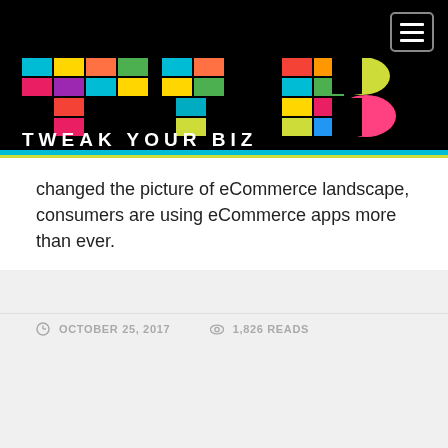[Figure (logo): Tweak Your Biz logo — colorful TYB letters on black background with 'TWEAK YOUR BIZ' text below, plus hamburger menu button top right]
changed the picture of eCommerce landscape, consumers are using eCommerce apps more than ever.
OCTOBER 25, 2017   1,826 READS